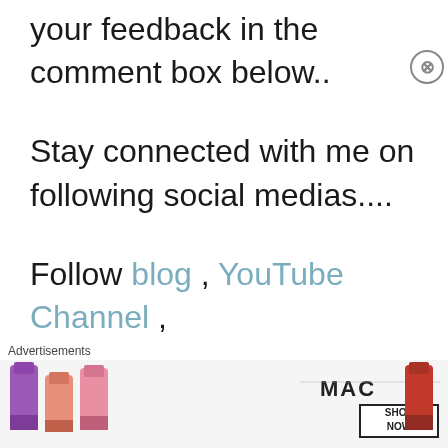your feedback in the comment box below..
Stay connected with me on following social medias....
Follow blog , YouTube Channel , FaceBook Page , Instagram, Pinterest , Twitter
[Figure (other): MAC cosmetics advertisement banner showing lipsticks with SHOP NOW button]
Advertisements